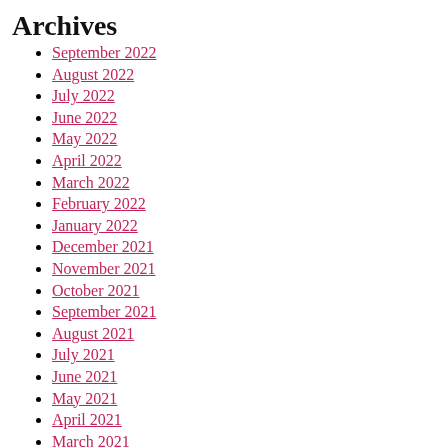Archives
September 2022
August 2022
July 2022
June 2022
May 2022
April 2022
March 2022
February 2022
January 2022
December 2021
November 2021
October 2021
September 2021
August 2021
July 2021
June 2021
May 2021
April 2021
March 2021
February 2021
January 2021
December 2020